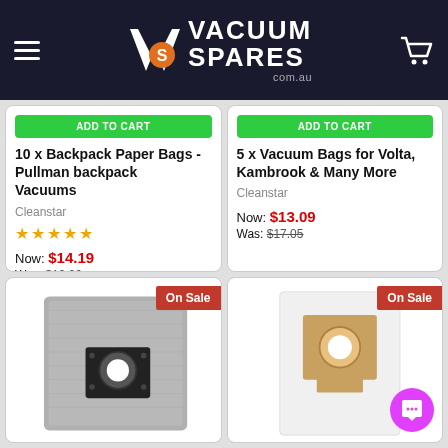Vacuum Spares com.au
10 x Backpack Paper Bags - Pullman backpack Vacuums | Cleanstar | Now: $14.19 | Was: $16.06
5 x Vacuum Bags for Volta, Kambrook & Many More | Cleanstar | Now: $13.09 | Was: $17.05
[Figure (photo): Grey fabric vacuum bag with black plastic connector ring]
[Figure (photo): White vacuum bag with brown cardboard connector ring]